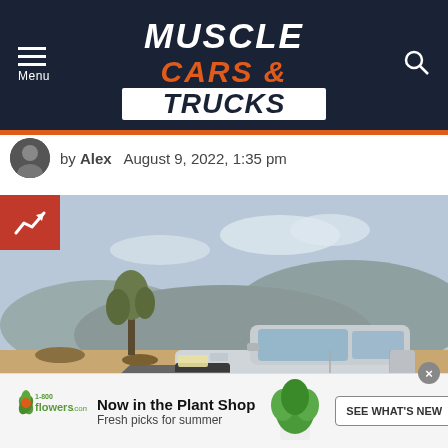Muscle Cars & Trucks — navigation header with menu and search icons
by Alex  August 9, 2022, 1:35 pm
[Figure (photo): White Chevrolet Silverado pickup truck driving on a desert highway with Joshua trees and arid hills in the background. A red trending badge with an upward arrow icon is overlaid in the top-left corner of the image.]
[Figure (screenshot): 1-800-Flowers.com advertisement banner: logo on left, headline 'Now in the Plant Shop' with subtext 'Fresh picks for summer', plant photo in center, and 'SEE WHAT'S NEW' CTA button on right. Close X button in top-right corner.]